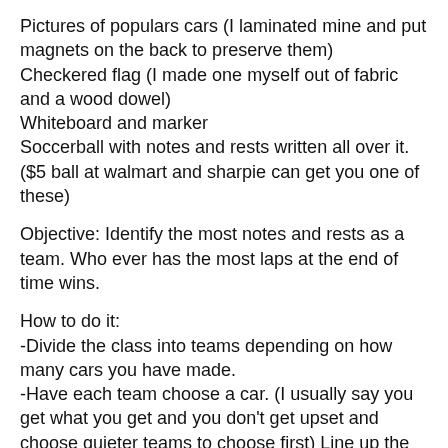Pictures of populars cars (I laminated mine and put magnets on the back to preserve them)
Checkered flag (I made one myself out of fabric and a wood dowel)
Whiteboard and marker
Soccerball with notes and rests written all over it. ($5 ball at walmart and sharpie can get you one of these)
Objective: Identify the most notes and rests as a team. Who ever has the most laps at the end of time wins.
How to do it:
-Divide the class into teams depending on how many cars you have made.
-Have each team choose a car. (I usually say you get what you get and you don’t get upset and choose quieter teams to choose first) Line up the cars on the board.